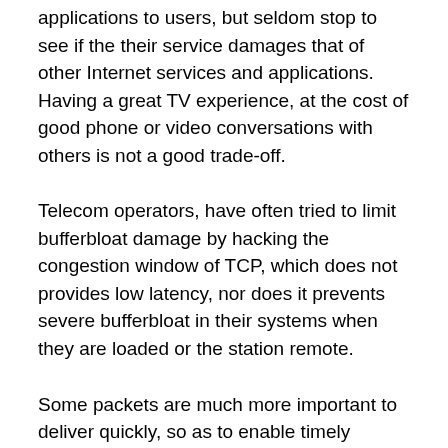applications to users, but seldom stop to see if the their service damages that of other Internet services and applications. Having a great TV experience, at the cost of good phone or video conversations with others is not a good trade-off.
Telecom operators, have often tried to limit bufferbloat damage by hacking the congestion window of TCP, which does not provides low latency, nor does it prevents severe bufferbloat in their systems when they are loaded or the station remote.
Some packets are much more important to deliver quickly, so as to enable timely behavior of applications. These include ACKS, TCP opens, TLS handshakes, and many other packet types such as VOIP, DHCP and DNS lookups. Applications cannot make progress until those